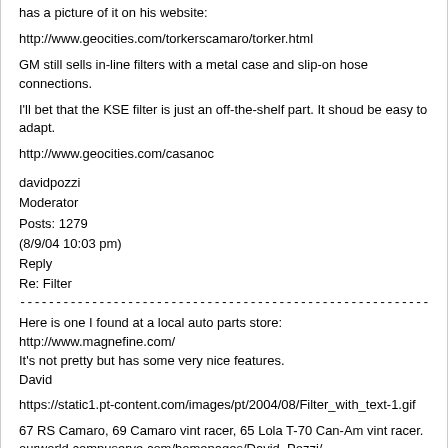has a picture of it on his website:
http://www.geocities.com/torkerscamaro/torker.html
GM still sells in-line filters with a metal case and slip-on hose connections.
I'll bet that the KSE filter is just an off-the-shelf part. It shoud be easy to adapt.
http://www.geocities.com/casanoc
davidpozzi
Moderator
Posts: 1279
(8/9/04 10:03 pm)
Reply
Re: Filter
Here is one I found at a local auto parts store:
http://www.magnefine.com/
It's not pretty but has some very nice features.
David
https://static1.pt-content.com/images/pt/2004/08/Filter_with_text-1.gif
67 RS Camaro, 69 Camaro vint racer, 65 Lola T-70 Can-Am vint racer.
ourworld.compuserve.com/homepages/David_Pozzi/
Edited by: davidpozzi at: 8/9/04 10:15 pm
RFR
Local user
Posts: 220
(8/9/04 10:11 pm)
Reply Re: Filter
Well, after spending about 30 minutes on a reply, I hit the "Add Reply" button,